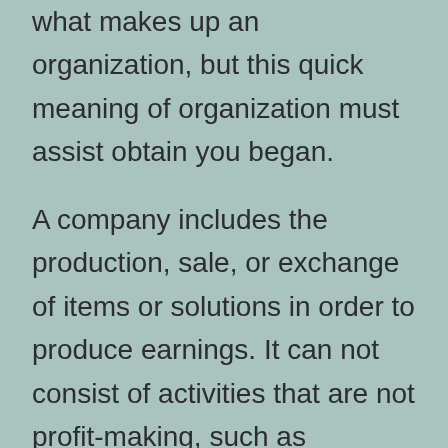what makes up an organization, but this quick meaning of organization must assist obtain you began.
A company includes the production, sale, or exchange of items or solutions in order to produce earnings. It can not consist of activities that are not profit-making, such as collecting donations or giving away to a charity. A business is a kind of activity in which an entity earns money by distributing it. Regardless of the kind of organization, it needs to correspond. There are specific standards to fulfill for an effective company. Services may